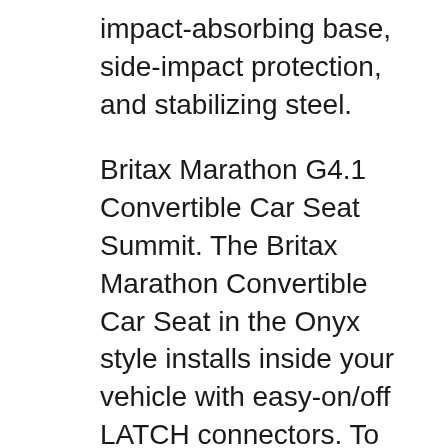impact-absorbing base, side-impact protection, and stabilizing steel.
Britax Marathon G4.1 Convertible Car Seat Summit. The Britax Marathon Convertible Car Seat in the Onyx style installs inside your vehicle with easy-on/off LATCH connectors. To detach the seat from your vehicle, Britax Marathon ClickTight Convertible Car Seat Cowmoflage. $449.99. Compare prices Britax Marathon ClickTight Convertible Car Seat, Cowmooflage (B01445LWO4).
Britax Marathon 70 Car Seat.Org
[Figure (logo): Partial logo graphic, showing the top arc of a circular emblem in gray at the bottom of the page.]